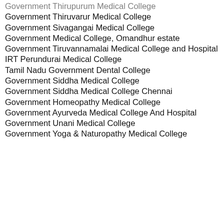Government Thirupurum Medical College
Government Thiruvarur Medical College
Government Sivagangai Medical College
Government Medical College, Omandhur estate
Government Tiruvannamalai Medical College and Hospital
IRT Perundurai Medical College
Tamil Nadu Government Dental College
Government Siddha Medical College
Government Siddha Medical College Chennai
Government Homeopathy Medical College
Government Ayurveda Medical College And Hospital
Government Unani Medical College
Government Yoga & Naturopathy Medical College